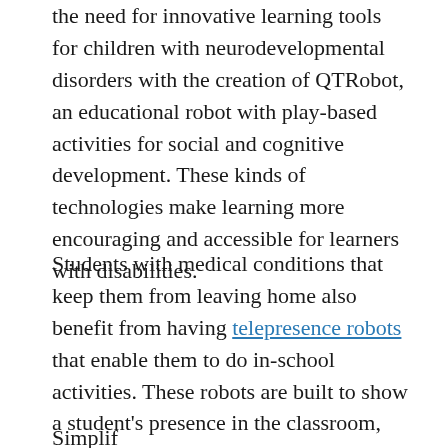the need for innovative learning tools for children with neurodevelopmental disorders with the creation of QTRobot, an educational robot with play-based activities for social and cognitive development. These kinds of technologies make learning more encouraging and accessible for learners with disabilities.
Students with medical conditions that keep them from leaving home also benefit from having telepresence robots that enable them to do in-school activities. These robots are built to show a student's presence in the classroom, with a tall vertical body with a screen on top to show the student's face.
Simplifying...